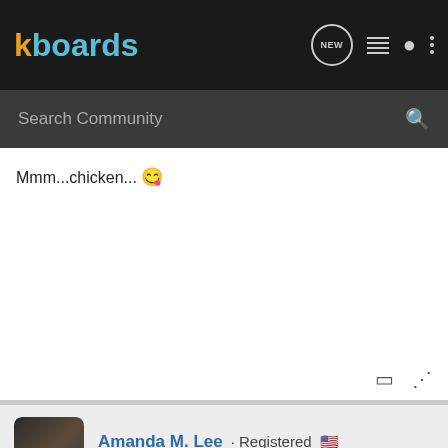kboards
Search Community
Mmm...chicken... 😋
Amanda M. Lee · Registered 🇺🇸
Joined Jun 3, 2014 · 6,005 Posts
#17 · Feb 24, 2015